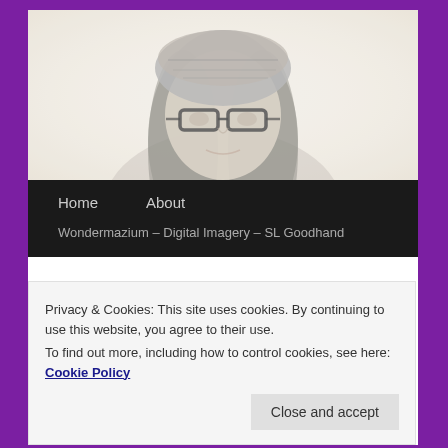[Figure (photo): Black and white portrait photo of a woman wearing glasses and a patterned head covering, with long hair, looking slightly downward]
Home   About
Wondermazium – Digital Imagery – SL Goodhand
CATEGORY ARCHIVES: POETRY
Privacy & Cookies: This site uses cookies. By continuing to use this website, you agree to their use.
To find out more, including how to control cookies, see here: Cookie Policy
Close and accept